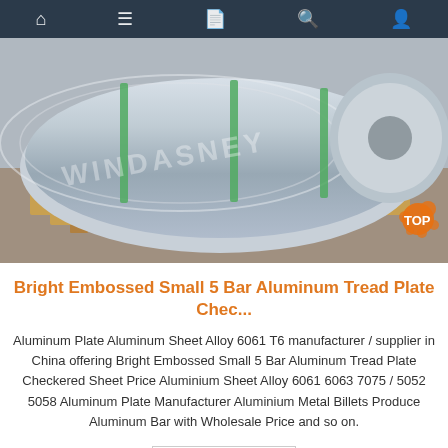Navigation bar with home, menu, document, search, and user icons
[Figure (photo): Large aluminum coils/rolls stored on wooden pallets in a warehouse, with green strapping bands, silver metallic surface. Watermark text visible across the image.]
Bright Embossed Small 5 Bar Aluminum Tread Plate Chec...
Aluminum Plate Aluminum Sheet Alloy 6061 T6 manufacturer / supplier in China offering Bright Embossed Small 5 Bar Aluminum Tread Plate Checkered Sheet Price Aluminium Sheet Alloy 6061 6063 7075 / 5052 5058 Aluminum Plate Manufacturer Aluminium Metal Billets Produce Aluminum Bar with Wholesale Price and so on.
Get Price